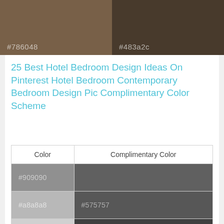[Figure (other): Two-color swatch strip showing #786048 (tan/brown) on left and #483a2c (dark brown) on right with hex labels]
25 Best Hotel Bedroom Design Ideas On Pinterest Hotel Bedroom Contemporary Bedroom Design Pic Complimentary Color Scheme
| Color | Complimentary Color |
| --- | --- |
| #909090 |  |
| #a8a8a8 | #575757 |
| #c0c0c0 | #3f3f3f |
| #786048 | #879fb7 |